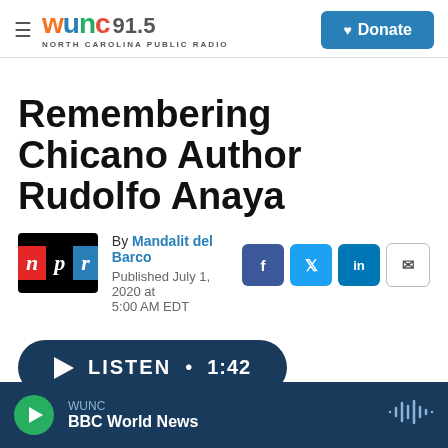WUNC 91.5 NORTH CAROLINA PUBLIC RADIO | Donate
Remembering Chicano Author Rudolfo Anaya
By Mandalit del Barco
Published July 1, 2020 at 5:00 AM EDT
LISTEN • 1:42
WUNC BBC World News